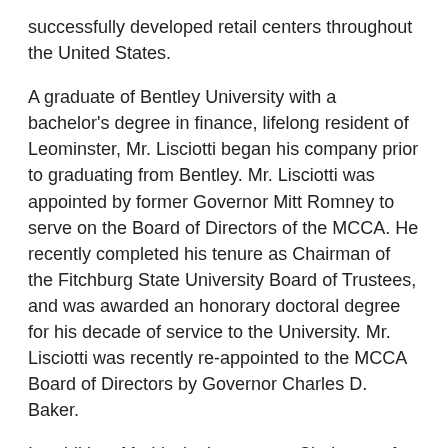successfully developed retail centers throughout the United States.
A graduate of Bentley University with a bachelor's degree in finance, lifelong resident of Leominster, Mr. Lisciotti began his company prior to graduating from Bentley. Mr. Lisciotti was appointed by former Governor Mitt Romney to serve on the Board of Directors of the MCCA. He recently completed his tenure as Chairman of the Fitchburg State University Board of Trustees, and was awarded an honorary doctoral degree for his decade of service to the University. Mr. Lisciotti was recently re-appointed to the MCCA Board of Directors by Governor Charles D. Baker.
In addition, Mr. Lisciotti serves as Chairman of the Board of Directors for the Leominster Housing Authority, and is a former Trustee at the Fitchburg Art Museum. He is a lifetime member of St. Anna Parish in Leominster, MA. Mr. Lisciotti has also been involved in various community organizations, including the Fay Club Board of Directors, Our Father's House, housing the Board, and…